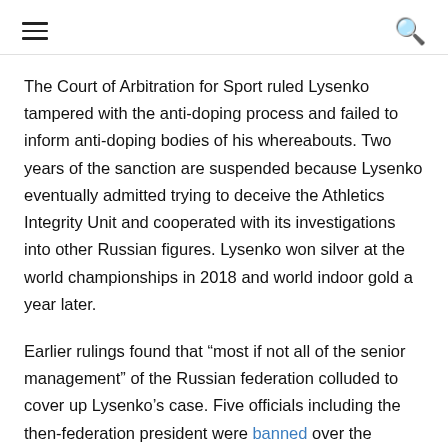[hamburger menu] [search icon]
The Court of Arbitration for Sport ruled Lysenko tampered with the anti-doping process and failed to inform anti-doping bodies of his whereabouts. Two years of the sanction are suspended because Lysenko eventually admitted trying to deceive the Athletics Integrity Unit and cooperated with its investigations into other Russian figures. Lysenko won silver at the world championships in 2018 and world indoor gold a year later.
Earlier rulings found that “most if not all of the senior management” of the Russian federation colluded to cover up Lysenko’s case. Five officials including the then-federation president were banned over the conspiracy. It involved creating documents from a fake clinic to give Lysenko a medical excuse for not being available for testing and falsely